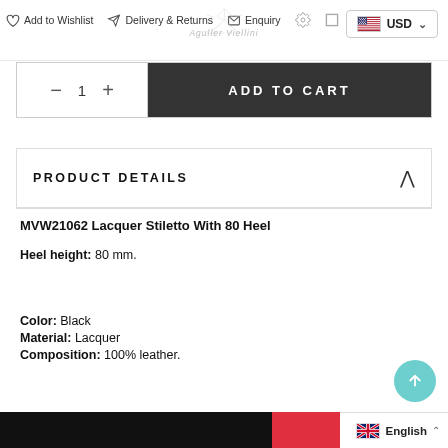Add to Wishlist   Delivery & Returns   Enquiry   USD
ADD TO CART  quantity: 1
PRODUCT DETAILS
MVW21062 Lacquer Stiletto With 80 Heel
Heel height: 80 mm.
Color: Black
Material: Lacquer
Composition: 100% leather.
English